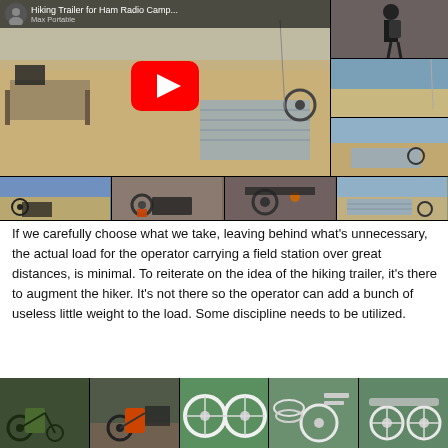[Figure (screenshot): YouTube video thumbnail collage showing 'Hiking Trailer for Ham Radio Camp...' video by Max Portable. Main thumbnail shows ham radio equipment on a beach with a hiking trailer, play button overlay. Side thumbnails show person with backpack and coastal scene. Bottom strip shows 4 more images of the trailer from different angles on sand.]
If we carefully choose what we take, leaving behind what's unnecessary, the actual load for the operator carrying a field station over great distances, is minimal. To reiterate on the idea of the hiking trailer, it's there to augment the hiker. It's not there so the operator can add a bunch of useless little weight to the load. Some discipline needs to be utilized.
[Figure (photo): Row of 5 photos showing hiking trailer components and assembled trailer: backpack with trailer, trailer with orange bag on terrain, two wheel rims on grass, trailer hardware/hoses on grass, wheel rims and components on grass.]